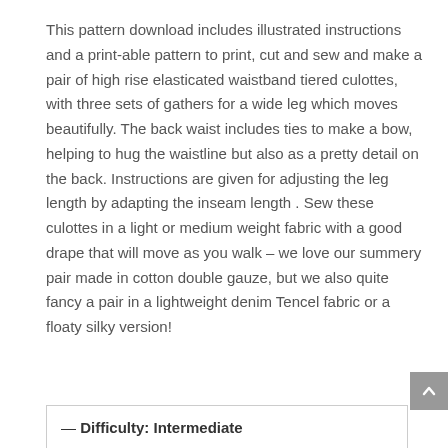This pattern download includes illustrated instructions and a print-able pattern to print, cut and sew and make a pair of high rise elasticated waistband tiered culottes, with three sets of gathers for a wide leg which moves beautifully. The back waist includes ties to make a bow, helping to hug the waistline but also as a pretty detail on the back. Instructions are given for adjusting the leg length by adapting the inseam length . Sew these culottes in a light or medium weight fabric with a good drape that will move as you walk – we love our summery pair made in cotton double gauze, but we also quite fancy a pair in a lightweight denim Tencel fabric or a floaty silky version!
— Difficulty: Intermediate